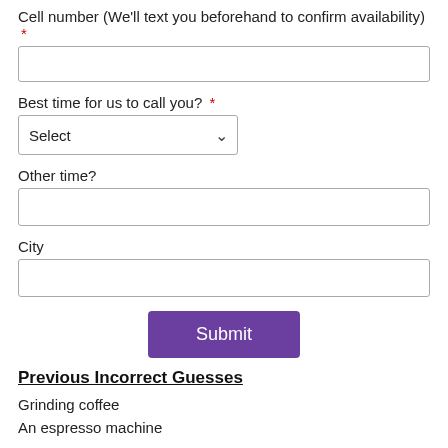Cell number (We'll text you beforehand to confirm availability) *
Best time for us to call you? *
Other time?
City
Submit
Previous Incorrect Guesses
Grinding coffee
An espresso machine